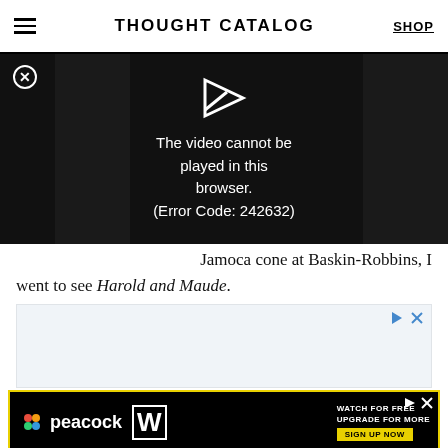THOUGHT CATALOG | SHOP
[Figure (screenshot): Video player overlay on black background showing error message: 'The video cannot be played in this browser. (Error Code: 242632)' with a play/arrow icon and close button (X circle) top left. Dark sidebars on left and right.]
Jamoca cone at Baskin-Robbins, I went to see Harold and Maude.
[Figure (screenshot): Advertisement placeholder with white/light blue background and ad control icons (play and X) in top right corner.]
[Figure (screenshot): Peacock and WWE advertisement banner: 'WATCH FOR FREE UPGRADE FOR MORE SIGN UP NOW' on black background with yellow border.]